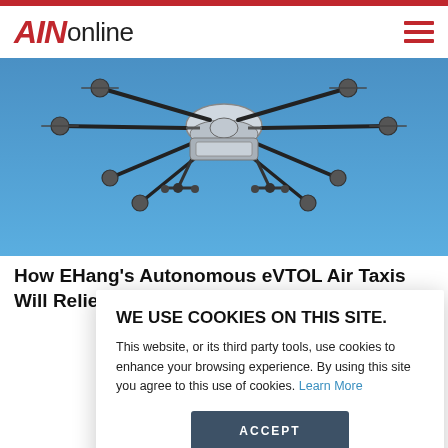AINonline
[Figure (photo): Bottom view of an EHang autonomous eVTOL multirotor air taxi drone in flight against a blue sky, showing landing gear and multiple rotors]
How EHang's Autonomous eVTOL Air Taxis Will Relieve Gridlocked Cities
WE USE COOKIES ON THIS SITE.
This website, or its third party tools, use cookies to enhance your browsing experience. By using this site you agree to this use of cookies. Learn More
ACCEPT